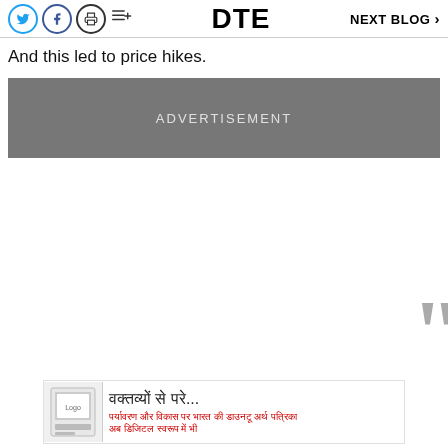DTE  NEXT BLOG >
And this led to price hikes.
[Figure (other): Advertisement placeholder box with grey background and text 'ADVERTISEMENT']
[Figure (other): Large grey closing quotation mark on right edge]
[Figure (other): Bottom advertisement banner with Hindi text: वक्तव्यों से परे... and subtitle in Hindi/Devanagari with a small logo image on left]